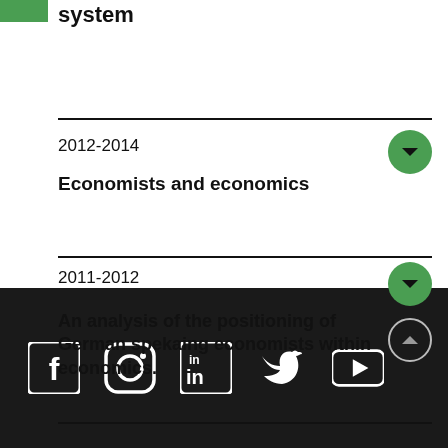system
2012-2014
Economists and economics
2011-2012
An analysis of the positioning of German spekaing economists within economics.
Social media icons: Facebook, Instagram, LinkedIn, Twitter, YouTube